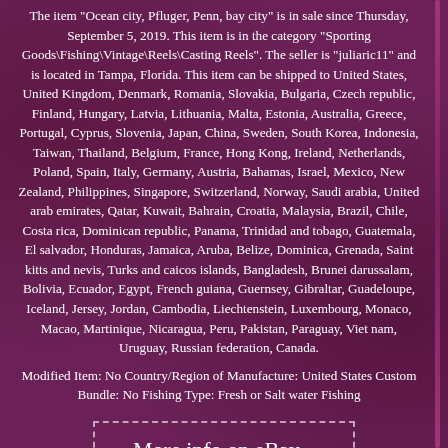The item "Ocean city, Pfluger, Penn, bay city" is in sale since Thursday, September 5, 2019. This item is in the category "Sporting Goods\Fishing\Vintage\Reels\Casting Reels". The seller is "juliaric11" and is located in Tampa, Florida. This item can be shipped to United States, United Kingdom, Denmark, Romania, Slovakia, Bulgaria, Czech republic, Finland, Hungary, Latvia, Lithuania, Malta, Estonia, Australia, Greece, Portugal, Cyprus, Slovenia, Japan, China, Sweden, South Korea, Indonesia, Taiwan, Thailand, Belgium, France, Hong Kong, Ireland, Netherlands, Poland, Spain, Italy, Germany, Austria, Bahamas, Israel, Mexico, New Zealand, Philippines, Singapore, Switzerland, Norway, Saudi arabia, United arab emirates, Qatar, Kuwait, Bahrain, Croatia, Malaysia, Brazil, Chile, Costa rica, Dominican republic, Panama, Trinidad and tobago, Guatemala, El salvador, Honduras, Jamaica, Aruba, Belize, Dominica, Grenada, Saint kitts and nevis, Turks and caicos islands, Bangladesh, Brunei darussalam, Bolivia, Ecuador, Egypt, French guiana, Guernsey, Gibraltar, Guadeloupe, Iceland, Jersey, Jordan, Cambodia, Liechtenstein, Luxembourg, Monaco, Macao, Martinique, Nicaragua, Peru, Pakistan, Paraguay, Viet nam, Uruguay, Russian federation, Canada.
Modified Item: No Country/Region of Manufacture: United States Custom Bundle: No Fishing Type: Fresh or Salt water Fishing
More info on eBay...